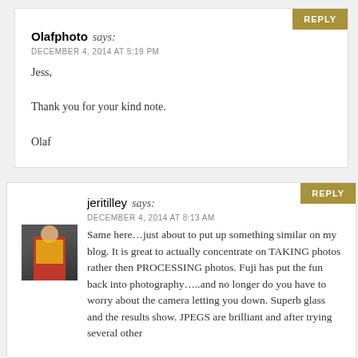Olafphoto says: DECEMBER 4, 2014 AT 5:19 PM
Jess,

Thank you for your kind note.

Olaf
jeritilley says: DECEMBER 4, 2014 AT 8:13 AM
Same here…just about to put up something similar on my blog. It is great to actually concentrate on TAKING photos rather then PROCESSING photos. Fuji has put the fun back into photography…..and no longer do you have to worry about the camera letting you down. Superb glass and the results show. JPEGS are brilliant and after trying several other